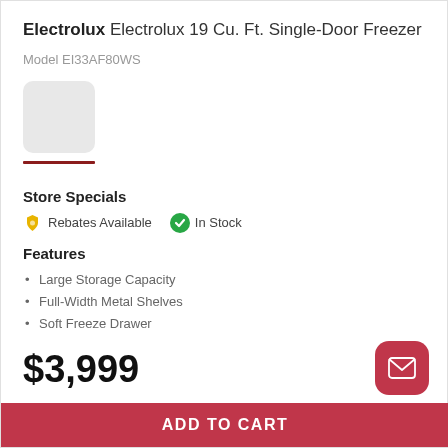Electrolux Electrolux 19 Cu. Ft. Single-Door Freezer
Model EI33AF80WS
[Figure (photo): Small product thumbnail image of the Electrolux freezer with a dark red underline indicator below it]
Store Specials
Rebates Available  In Stock
Features
Large Storage Capacity
Full-Width Metal Shelves
Soft Freeze Drawer
$3,999
ADD TO CART